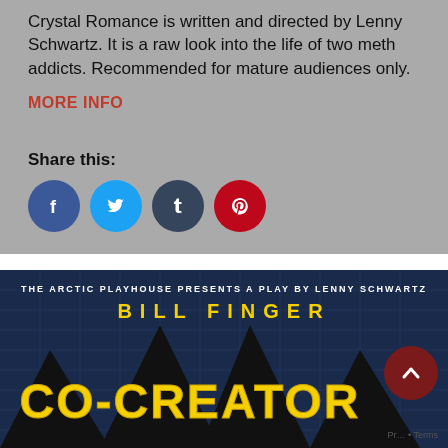Crystal Romance is written and directed by Lenny Schwartz. It is a raw look into the life of two meth addicts. Recommended for mature audiences only.
MORE INFO
Share this:
[Figure (screenshot): Social share buttons: Facebook (blue circle), Twitter (light blue circle), Tumblr (dark slate circle), Pinterest (red circle)]
[Figure (photo): Poster for 'Bill Finger Co-Creator' play by The Arctic Playhouse, a play by Lenny Schwartz. Yellow text on dark background with Batman-style imagery.]